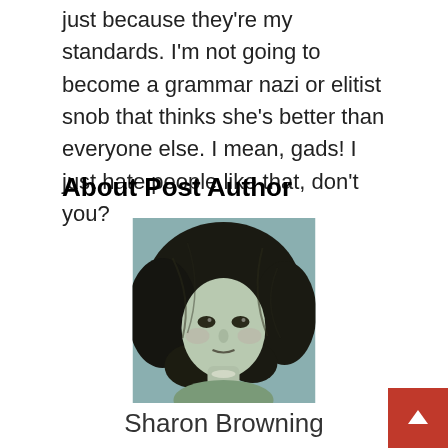just because they're my standards. I'm not going to become a grammar nazi or elitist snob that thinks she's better than everyone else. I mean, gads! I just hate people like that, don't you?
About Post Author
[Figure (illustration): Portrait illustration of a woman with long dark curly hair, painted in a muted green-grey palette, looking directly at the viewer.]
Sharon Browning
See author's posts